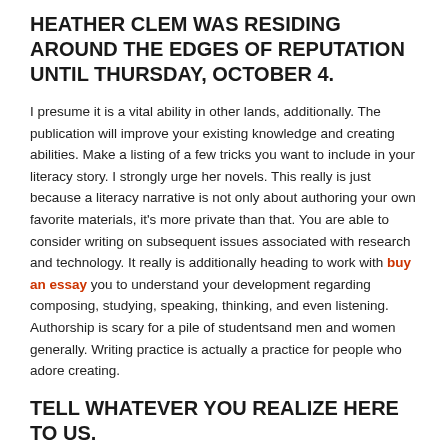HEATHER CLEM WAS RESIDING AROUND THE EDGES OF REPUTATION UNTIL THURSDAY, OCTOBER 4.
I presume it is a vital ability in other lands, additionally. The publication will improve your existing knowledge and creating abilities. Make a listing of a few tricks you want to include in your literacy story. I strongly urge her novels. This really is just because a literacy narrative is not only about authoring your own favorite materials, it's more private than that. You are able to consider writing on subsequent issues associated with research and technology. It really is additionally heading to work with buy an essay you to understand your development regarding composing, studying, speaking, thinking, and even listening. Authorship is scary for a pile of studentsand men and women generally. Writing practice is actually a practice for people who adore creating.
TELL WHATEVER YOU REALIZE HERE TO US.
Cursive writing is, in inclusion, called software. Following are